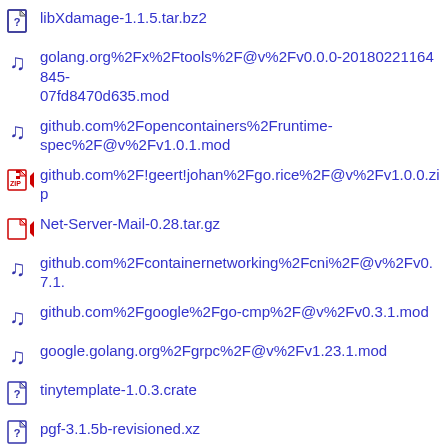libXdamage-1.1.5.tar.bz2
golang.org%2Fx%2Ftools%2F@v%2Fv0.0.0-20180221164845-07fd8470d635.mod
github.com%2Fopencontainers%2Fruntime-spec%2F@v%2Fv1.0.1.mod
github.com%2F!geert!johan%2Fgo.rice%2F@v%2Fv1.0.0.zip
Net-Server-Mail-0.28.tar.gz
github.com%2Fcontainernetworking%2Fcni%2F@v%2Fv0.7.1.
github.com%2Fgoogle%2Fgo-cmp%2F@v%2Fv0.3.1.mod
google.golang.org%2Fgrpc%2F@v%2Fv1.23.1.mod
tinytemplate-1.0.3.crate
pgf-3.1.5b-revisioned.xz
farstream-0.2.9.tar.gz